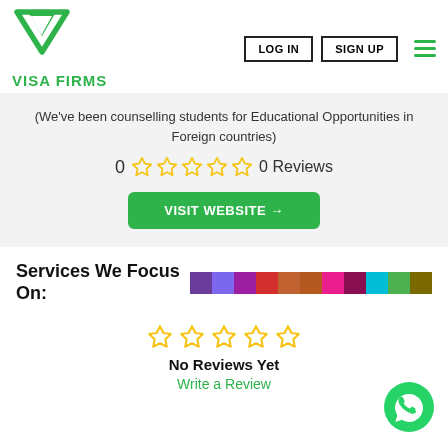[Figure (logo): Visa Firms logo: green downward-pointing chevron/V shape with header buttons LOG IN and SIGN UP and hamburger menu]
(We've been counselling students for Educational Opportunities in Foreign countries)
0 ☆☆☆☆☆ 0 Reviews
VISIT WEBSITE →
Services We Focus On:
[Figure (infographic): Horizontal color strip with multiple colored blocks: purple, violet, magenta, red, orange, dark orange, pink, dark pink/magenta, teal/cyan, green, olive/dark yellow]
☆☆☆☆☆
No Reviews Yet
Write a Review